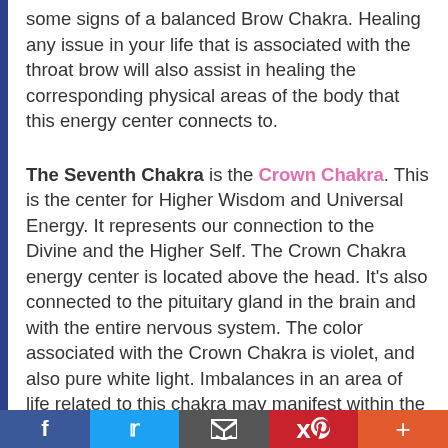some signs of a balanced Brow Chakra. Healing any issue in your life that is associated with the throat brow will also assist in healing the corresponding physical areas of the body that this energy center connects to.
The Seventh Chakra is the Crown Chakra. This is the center for Higher Wisdom and Universal Energy. It represents our connection to the Divine and the Higher Self. The Crown Chakra energy center is located above the head. It's also connected to the pituitary gland in the brain and with the entire nervous system. The color associated with the Crown Chakra is violet, and also pure white light. Imbalances in an area of life related to this chakra may manifest within the physical body as symptoms. These